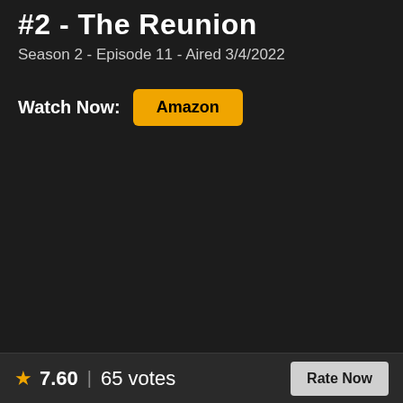#2 - The Reunion
Season 2 - Episode 11 - Aired 3/4/2022
Watch Now: Amazon
★ 7.60 | 65 votes  Rate Now